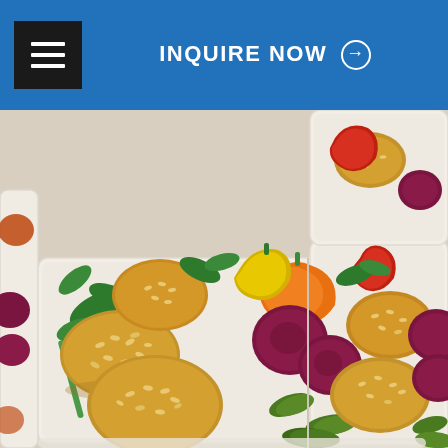INQUIRE NOW →
[Figure (photo): Multiple white takeout containers filled with seed-crusted falafel-style patties, colorful mini sweet peppers (orange, yellow, red), sliced beets, baby spinach leaves, and small cornichon pickles, arranged on a table, viewed from above.]